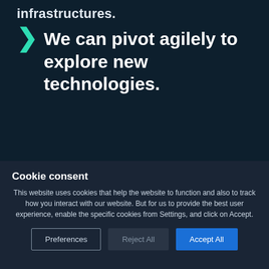infrastructures.
We can pivot agilely to explore new technologies.
Cookie consent
This website uses cookies that help the website to function and also to track how you interact with our website. But for us to provide the best user experience, enable the specific cookies from Settings, and click on Accept.
Preferences
Reject All
Accept All